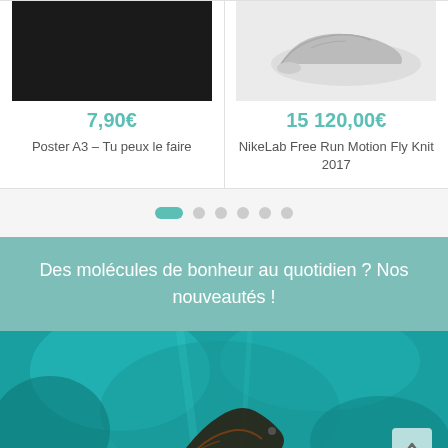[Figure (screenshot): Two product cards side by side. Left card: black image, price 7,90€, title 'Poster A3 – Tu peux le faire'. Right card: shoe image on grey background, price 15 120,00€, title 'NikeLab Free Run Motion Fly Knit 2017'.]
[Figure (infographic): Pagination indicator with one teal pill-shaped dot (active) and five grey circular dots.]
Des molécules de bonheur au quotidien ? Nos nouveautés !
[Figure (photo): Underwater scene with teal/turquoise water and what appears to be a sea creature or fish silhouette in the lower portion. A back-to-top arrow button is visible in the bottom right corner.]